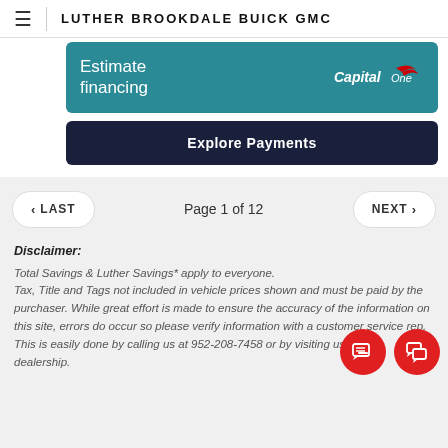LUTHER BROOKDALE BUICK GMC
[Figure (screenshot): Estimate financing button with Capital One branding on teal background]
[Figure (screenshot): Explore Payments button on dark navy background]
< LAST   Page 1 of 12   NEXT >
Disclaimer:
Total Savings & Luther Savings* apply to everyone. Tax, Title and Tags not included in vehicle prices shown and must be paid by the purchaser. While great effort is made to ensure the accuracy of the information on this site, errors do occur so please verify information with a customer service rep. This is easily done by calling us at 952-208-7458 or by visiting us at the dealership.